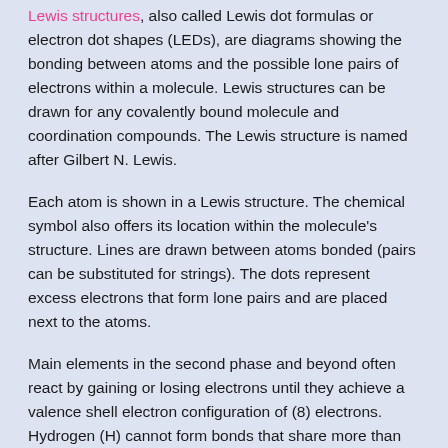Lewis structures, also called Lewis dot formulas or electron dot shapes (LEDs), are diagrams showing the bonding between atoms and the possible lone pairs of electrons within a molecule. Lewis structures can be drawn for any covalently bound molecule and coordination compounds. The Lewis structure is named after Gilbert N. Lewis.
Each atom is shown in a Lewis structure. The chemical symbol also offers its location within the molecule's structure. Lines are drawn between atoms bonded (pairs can be substituted for strings). The dots represent excess electrons that form lone pairs and are placed next to the atoms.
Main elements in the second phase and beyond often react by gaining or losing electrons until they achieve a valence shell electron configuration of (8) electrons. Hydrogen (H) cannot form bonds that share more than two electrons.